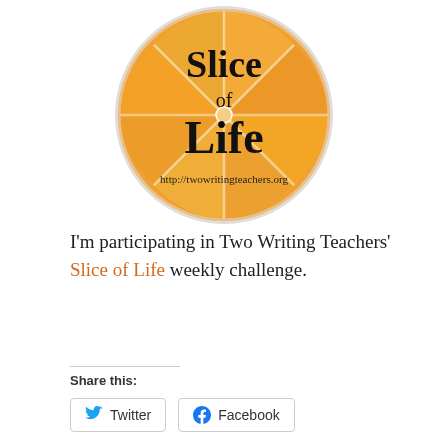[Figure (logo): Slice of Life logo: an orange citrus fruit cross-section with white segmentation lines, text reading 'Slice of Life' in black serif font, and URL 'http://twowritingteachers.org' in cursive below]
I'm participating in Two Writing Teachers' Slice of Life weekly challenge.
Share this:
Twitter
Facebook